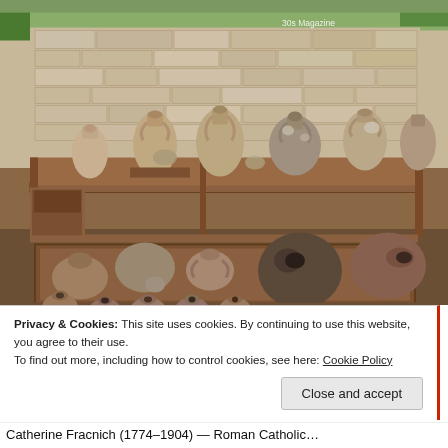[Figure (photo): Archaeological amphora and pottery collection displayed on wooden shelves against a stone brick wall. Various clay vessels, amphoras and jugs of different sizes are arranged on shelves and on the floor. A 30s Magazine watermark appears in the top right corner.]
Privacy & Cookies: This site uses cookies. By continuing to use this website, you agree to their use.
To find out more, including how to control cookies, see here: Cookie Policy
Close and accept
Catherine Fracnich (1774–1904) — Roman Catholic...